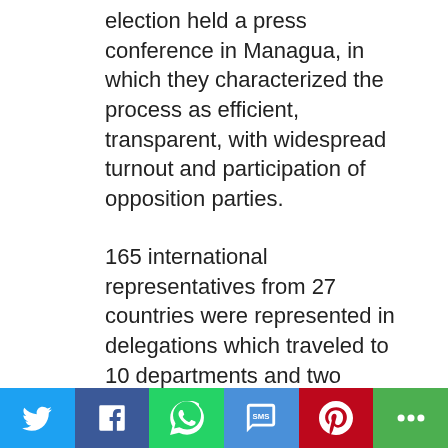election held a press conference in Managua, in which they characterized the process as efficient, transparent, with widespread turnout and participation of opposition parties.
165 international representatives from 27 countries were represented in delegations which traveled to 10 departments and two autonomous regions of Nicaragua on the day of the vote.
New minimum wage in Pakistan is a union win
When the government of Pakistan's Sindh province announced an increase in minimum wage for unskilled workers from PKR17,500 (US$103) to PKR25,000 (US$146) per month as of 1 July, the Employers Federation of Pakistan,among others,
Social share buttons: Twitter, Facebook, WhatsApp, SMS, Pinterest, More